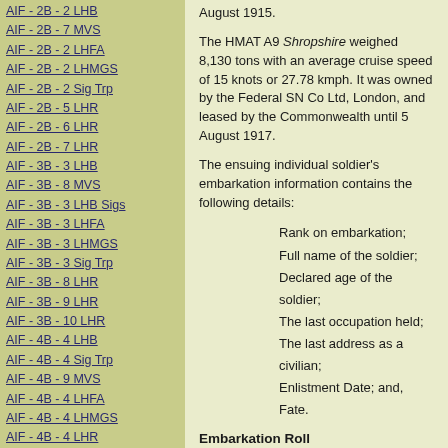AIF - 2B - 2 LHB
AIF - 2B - 7 MVS
AIF - 2B - 2 LHFA
AIF - 2B - 2 LHMGS
AIF - 2B - 2 Sig Trp
AIF - 2B - 5 LHR
AIF - 2B - 6 LHR
AIF - 2B - 7 LHR
AIF - 3B - 3 LHB
AIF - 3B - 8 MVS
AIF - 3B - 3 LHB Sigs
AIF - 3B - 3 LHFA
AIF - 3B - 3 LHMGS
AIF - 3B - 3 Sig Trp
AIF - 3B - 8 LHR
AIF - 3B - 9 LHR
AIF - 3B - 10 LHR
AIF - 4B - 4 LHB
AIF - 4B - 4 Sig Trp
AIF - 4B - 9 MVS
AIF - 4B - 4 LHFA
AIF - 4B - 4 LHMGS
AIF - 4B - 4 LHR
AIF - 4B - 11 LHR
AIF - 4B - 12 LHR
AIF - 5B - 5 LHB
AIF - 5B - 10 MVS
AIF - 5B - 5 LHFA
August 1915.
The HMAT A9 Shropshire weighed 8,130 tons with an average cruise speed of 15 knots or 27.78 kmph. It was owned by the Federal SN Co Ltd, London, and leased by the Commonwealth until 5 August 1917.
The ensuing individual soldier's embarkation information contains the following details:
Rank on embarkation;
Full name of the soldier;
Declared age of the soldier;
The last occupation held;
The last address as a civilian;
Enlistment Date; and,
Fate.
Embarkation Roll
1098 Private George ALLEN, a